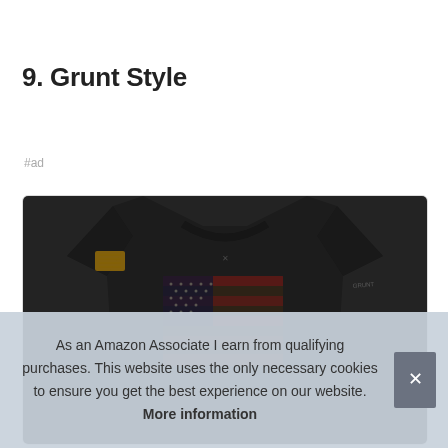9. Grunt Style
#ad
[Figure (photo): Dark military-style t-shirt with distressed American flag graphic on the chest and a patch on the sleeve]
As an Amazon Associate I earn from qualifying purchases. This website uses the only necessary cookies to ensure you get the best experience on our website. More information